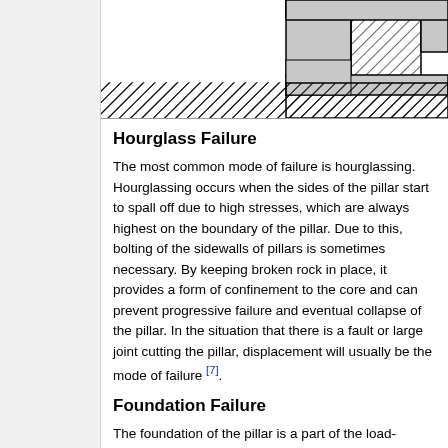[Figure (engineering-diagram): Engineering diagram showing cross-section of a pillar/foundation with hatched fill patterns and rectangular structural elements, partially visible at top of page.]
Hourglass Failure
The most common mode of failure is hourglassing. Hourglassing occurs when the sides of the pillar start to spall off due to high stresses, which are always highest on the boundary of the pillar. Due to this, bolting of the sidewalls of pillars is sometimes necessary. By keeping broken rock in place, it provides a form of confinement to the core and can prevent progressive failure and eventual collapse of the pillar. In the situation that there is a fault or large joint cutting the pillar, displacement will usually be the mode of failure [7].
Foundation Failure
The foundation of the pillar is a part of the load-carrying system and must be considered for the overall design. If the foundation rock is of